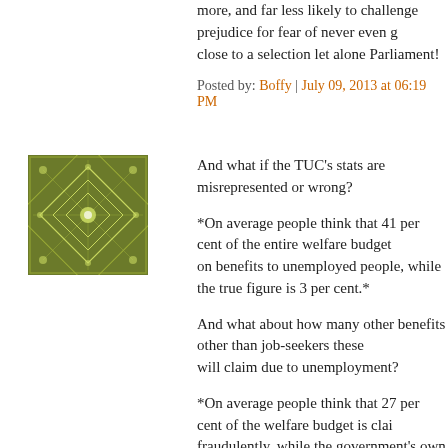more, and far less likely to challenge prejudice for fear of never even getting close to a selection let alone Parliament!
Posted by: Boffy | July 09, 2013 at 06:19 PM
[Figure (illustration): Green geometric/fractal square avatar icon with diamond/star pattern]
And what if the TUC's stats are misrepresented or wrong?
*On average people think that 41 per cent of the entire welfare budget on benefits to unemployed people, while the true figure is 3 per cent.*
And what about how many other benefits other than job-seekers these will claim due to unemployment?
*On average people think that 27 per cent of the welfare budget is claimed fraudulently, while the government's own figure is 0.7 per cent.*
What's the definition of fraudulently?
I know a dozen people who got into social housing when they were poor and now earn more than many people paying for private housing.
Not fraud, but the answers given are only as good as the questions asked.
To many people know of too many anecdotal situations where they see people on benefits living a relatively good lifestyle.
Now maybe that's my bias/stupidity/ignorance/hostility.